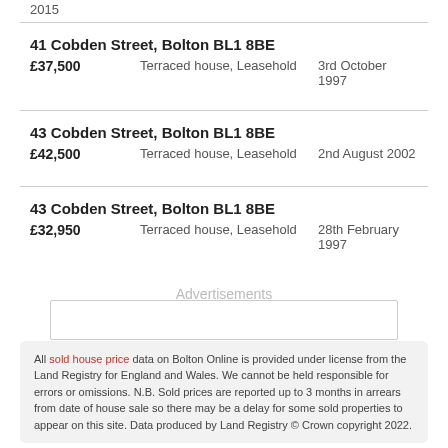2015
41 Cobden Street, Bolton BL1 8BE | £37,500 | Terraced house, Leasehold | 3rd October 1997
43 Cobden Street, Bolton BL1 8BE | £42,500 | Terraced house, Leasehold | 2nd August 2002
43 Cobden Street, Bolton BL1 8BE | £32,950 | Terraced house, Leasehold | 28th February 1997
Advertisements
All sold house price data on Bolton Online is provided under license from the Land Registry for England and Wales. We cannot be held responsible for errors or omissions. N.B. Sold prices are reported up to 3 months in arrears from date of house sale so there may be a delay for some sold properties to appear on this site. Data produced by Land Registry © Crown copyright 2022.